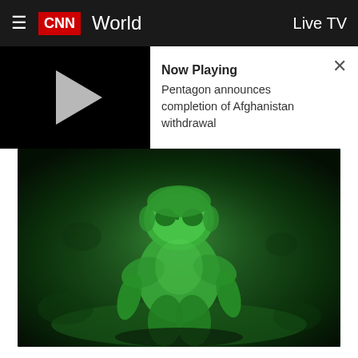≡  CNN  World  Live TV
[Figure (screenshot): Now Playing panel: Pentagon announces completion of Afghanistan withdrawal, with play button on black background and white text panel with close X]
[Figure (photo): Night-vision green photo of a soldier (Maj. Gen. Chris Donahue) boarding a US Air Force C-17, tweeted by the US Department of Defense]
In this photo tweeted by the US Department of Defense, Maj. Gen. Chris Donahue, commanding general of the All American Division XVIII Airborne Corps, boards a US Air Force C-17 on August 30. (From Department of Defense/Twitter)